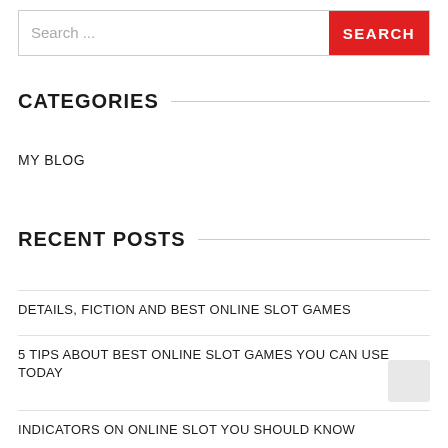Search ...
SEARCH
CATEGORIES
MY BLOG
RECENT POSTS
DETAILS, FICTION AND BEST ONLINE SLOT GAMES
5 TIPS ABOUT BEST ONLINE SLOT GAMES YOU CAN USE TODAY
INDICATORS ON ONLINE SLOT YOU SHOULD KNOW